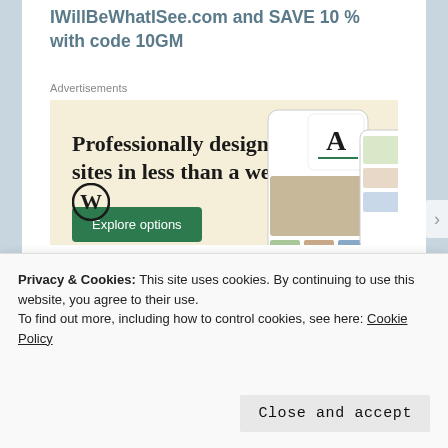IWillBeWhatISee.com and SAVE 10 % with code 10GM
Advertisements
[Figure (illustration): WordPress advertisement banner with beige background showing text 'Professionally designed sites in less than a week', a green 'Explore options' button, the WordPress logo (W in circle), and mockup screenshots of websites/apps on the right side.]
Privacy & Cookies: This site uses cookies. By continuing to use this website, you agree to their use.
To find out more, including how to control cookies, see here: Cookie Policy
Close and accept